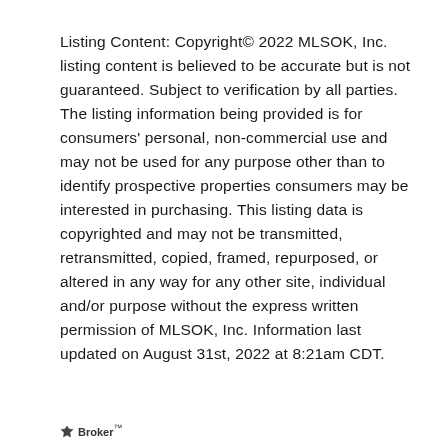Listing Content: Copyright© 2022 MLSOK, Inc. listing content is believed to be accurate but is not guaranteed. Subject to verification by all parties. The listing information being provided is for consumers' personal, non-commercial use and may not be used for any purpose other than to identify prospective properties consumers may be interested in purchasing. This listing data is copyrighted and may not be transmitted, retransmitted, copied, framed, repurposed, or altered in any way for any other site, individual and/or purpose without the express written permission of MLSOK, Inc. Information last updated on August 31st, 2022 at 8:21am CDT.
Broker™